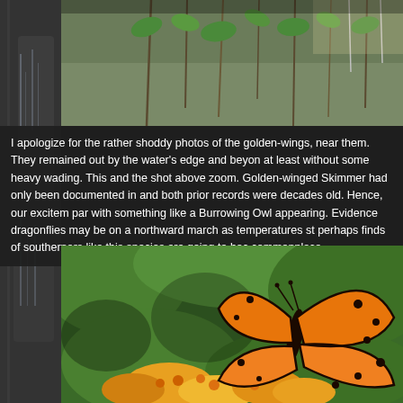[Figure (photo): Photo of green plants/branches near water, partially cropped at top]
I apologize for the rather shoddy photos of the golden-wings, near them. They remained out by the water's edge and beyond at least without some heavy wading. This and the shot above zoom. Golden-winged Skimmer had only been documented in and both prior records were decades old. Hence, our excitement par with something like a Burrowing Owl appearing. Evidence dragonflies may be on a northward march as temperatures st perhaps finds of southerners like this species are going to bec commonplace.
[Figure (photo): Close-up photo of an orange and black spotted butterfly (fritillary) on yellow/orange flowers with green foliage background]